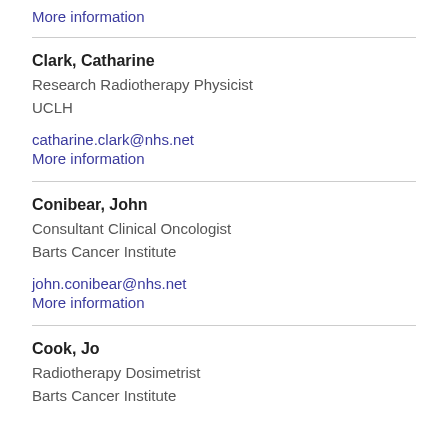More information
Clark, Catharine
Research Radiotherapy Physicist
UCLH
catharine.clark@nhs.net
More information
Conibear, John
Consultant Clinical Oncologist
Barts Cancer Institute
john.conibear@nhs.net
More information
Cook, Jo
Radiotherapy Dosimetrist
Barts Cancer Institute